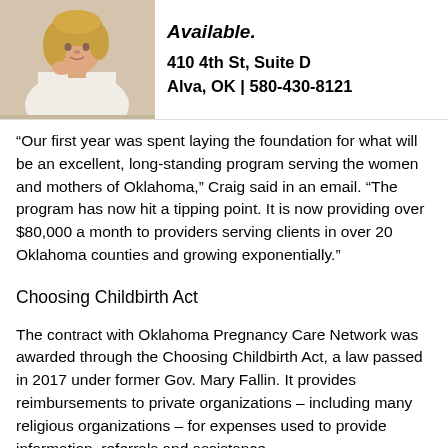[Figure (photo): Woman with blonde hair in white robe, chin resting on hand, looking thoughtful]
Available.
410 4th St, Suite D
Alva, OK | 580-430-8121
“Our first year was spent laying the foundation for what will be an excellent, long-standing program serving the women and mothers of Oklahoma,” Craig said in an email. “The program has now hit a tipping point. It is now providing over $80,000 a month to providers serving clients in over 20 Oklahoma counties and growing exponentially.”
Choosing Childbirth Act
The contract with Oklahoma Pregnancy Care Network was awarded through the Choosing Childbirth Act, a law passed in 2017 under former Gov. Mary Fallin. It provides reimbursements to private organizations – including many religious organizations – for expenses used to provide information, referrals and assistance